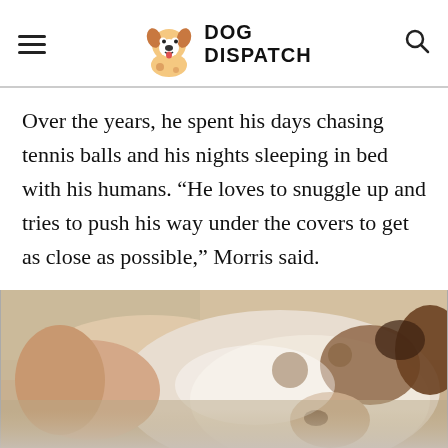DOG DISPATCH
Over the years, he spent his days chasing tennis balls and his nights sleeping in bed with his humans. “He loves to snuggle up and tries to push his way under the covers to get as close as possible,” Morris said.
[Figure (photo): Close-up photo of a white and brown spotted dog's face snuggled up close, appearing to be in bed or resting against a person.]